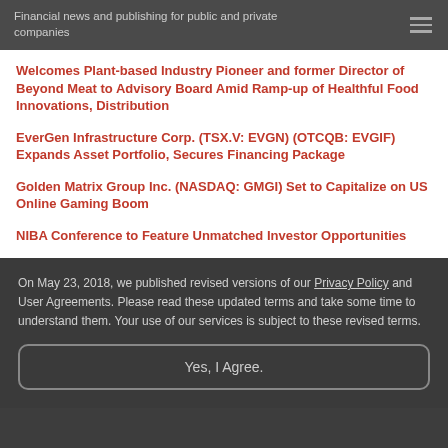Financial news and publishing for public and private companies
Welcomes Plant-based Industry Pioneer and former Director of Beyond Meat to Advisory Board Amid Ramp-up of Healthful Food Innovations, Distribution
EverGen Infrastructure Corp. (TSX.V: EVGN) (OTCQB: EVGIF) Expands Asset Portfolio, Secures Financing Package
Golden Matrix Group Inc. (NASDAQ: GMGI) Set to Capitalize on US Online Gaming Boom
NIBA Conference to Feature Unmatched Investor Opportunities
On May 23, 2018, we published revised versions of our Privacy Policy and User Agreements. Please read these updated terms and take some time to understand them. Your use of our services is subject to these revised terms.
Yes, I Agree.